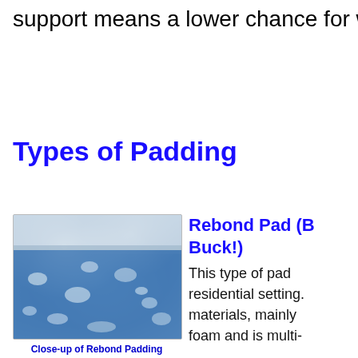support means a lower chance for wrinkle
Types of Padding
[Figure (photo): Close-up photograph of Rebond Padding, 3/8 inch, 8-pound density — shows layered foam material with blue/white mottled texture]
Close-up of Rebond Padding 3/8", 8-pound density
Rebond Pad (B... Buck!) This type of pad residential setting. materials, mainly foam and is multi-